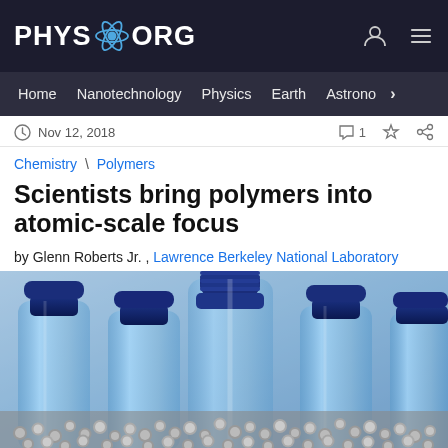PHYS.ORG
Home | Nanotechnology | Physics | Earth | Astronomy
Nov 12, 2018
Chemistry \ Polymers
Scientists bring polymers into atomic-scale focus
by Glenn Roberts Jr. , Lawrence Berkeley National Laboratory
[Figure (photo): Blue plastic water bottles with metallic beads/pellets in the foreground, photographed close-up against a blue background]